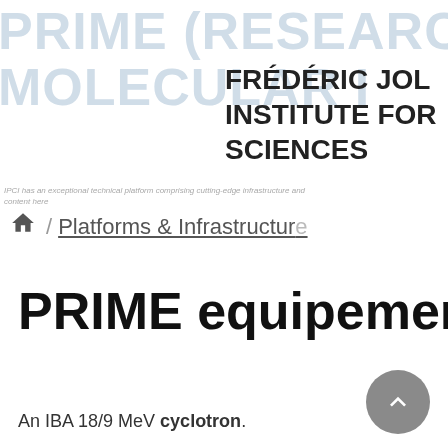PRIME (RESEARCH PLATFORM FOR MOLECULAR IMAGING)
FRÉDÉRIC JOLIOT INSTITUTE FOR LIFE SCIENCES
IPCI has an exceptional technical platform comprising cutting-edge infrastructure and content here
🏠 / Platforms & Infrastructure
PRIME equipement
An IBA 18/9 MeV cyclotron.